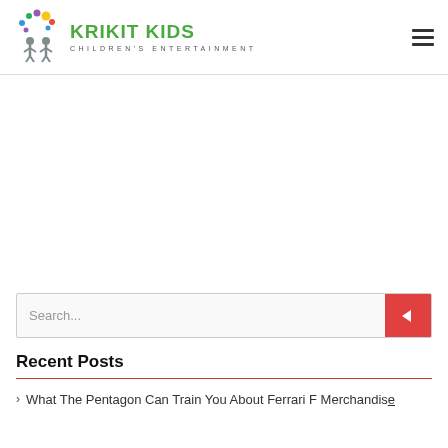KRIKIT KIDS CHILDREN'S ENTERTAINMENT
[Figure (logo): Krikit Kids logo with colorful circles and two children figures, alongside green bold text 'KRIKIT KIDS' and spaced gray text 'CHILDREN'S ENTERTAINMENT']
Search...
Recent Posts
What The Pentagon Can Train You About Ferrari F Merchandise